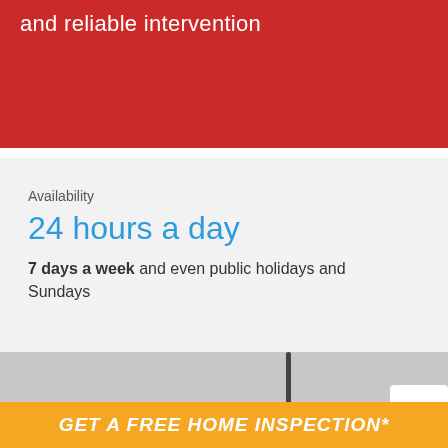and reliable intervention
Availability
24 hours a day
7 days a week and even public holidays and Sundays
[Figure (photo): Photo of a faucet or tap against a grey/white background, with a small circular logo badge in the lower right corner]
GET A FREE HOME INSPECTION*